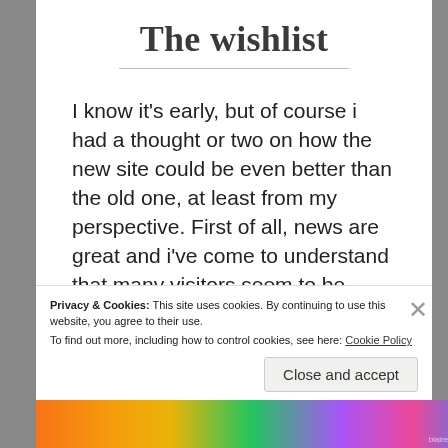The wishlist
I know it's early, but of course i had a thought or two on how the new site could be even better than the old one, at least from my perspective. First of all, news are great and i've come to understand that many visitors seem to be looking for that, but i'd like to see more weight being put
Privacy & Cookies: This site uses cookies. By continuing to use this website, you agree to their use.
To find out more, including how to control cookies, see here: Cookie Policy
Close and accept